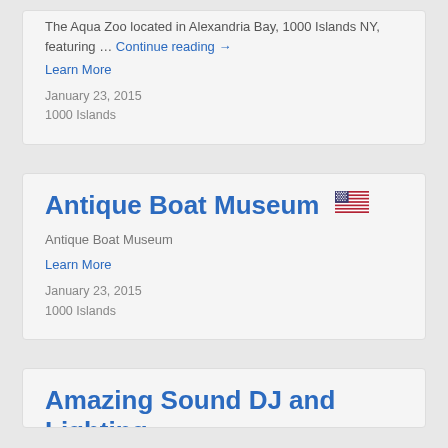The Aqua Zoo located in Alexandria Bay, 1000 Islands NY, featuring … Continue reading →
Learn More
January 23, 2015
1000 Islands
Antique Boat Museum 🇺🇸
Antique Boat Museum
Learn More
January 23, 2015
1000 Islands
Amazing Sound DJ and Lighting